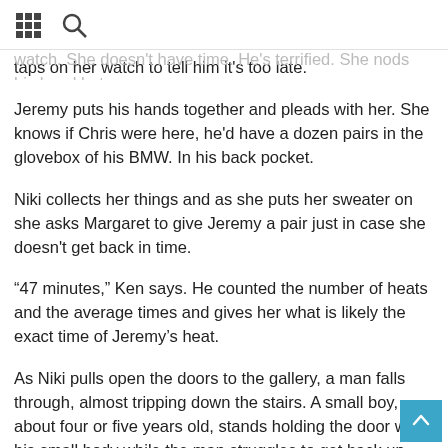[grid icon] [search icon]
as the swim store puts outside the city. Niki points at her watch. She doesn't have time. He's terrified. She nods his head but taps on her watch to tell him it's too late.
Jeremy puts his hands together and pleads with her. She knows if Chris were here, he'd have a dozen pairs in the glovebox of his BMW. In his back pocket.
Niki collects her things and as she puts her sweater on she asks Margaret to give Jeremy a pair just in case she doesn't get back in time.
“47 minutes,” Ken says. He counted the number of heats and the average times and gives her what is likely the exact time of Jeremy’s heat.
As Niki pulls open the doors to the gallery, a man falls through, almost tripping down the stairs. A small boy, about four or five years old, stands holding the door with his small body while the man struggles to get back up using the railing. He reeks of alcohol, a familiar blend of freshly drunk beer and stale old whiskey. Niki’s Dad